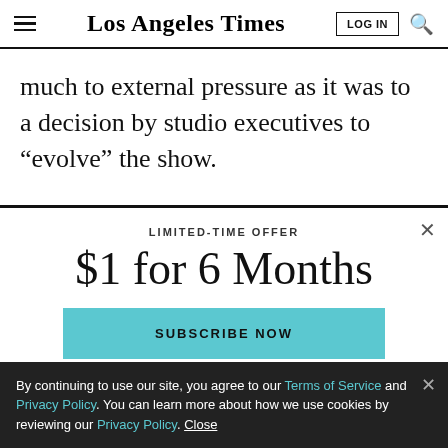Los Angeles Times
much to external pressure as it was to a decision by studio executives to “evolve” the show.
LIMITED-TIME OFFER
$1 for 6 Months
SUBSCRIBE NOW
By continuing to use our site, you agree to our Terms of Service and Privacy Policy. You can learn more about how we use cookies by reviewing our Privacy Policy. Close